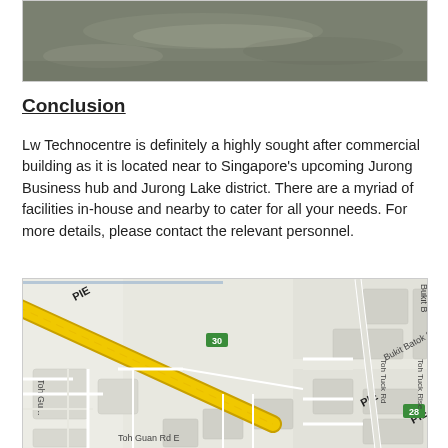[Figure (photo): Photo of a concrete or industrial floor surface, grey/green toned]
Conclusion
Lw Technocentre is definitely a highly sought after commercial building as it is located near to Singapore's upcoming Jurong Business hub and Jurong Lake district. There are a myriad of facilities in-house and nearby to cater for all your needs. For more details, please contact the relevant personnel.
[Figure (map): Street map showing PIE highway, Bukit Batok Street 23, Toh Tuck Rd, Toh Tuck Rise, Toh Guan Rd E, and surrounding roads in Singapore]